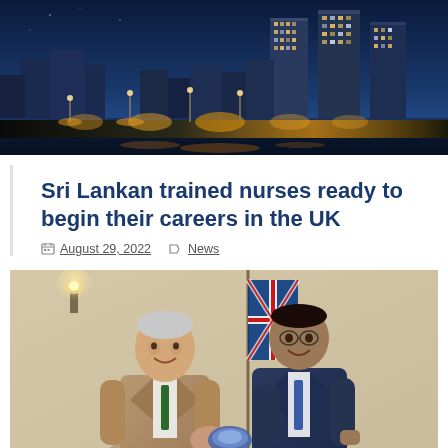[Figure (photo): Nighttime cityscape of Colombo, Sri Lanka, with illuminated skyscrapers and a waterfront promenade with street lights.]
Sri Lankan trained nurses ready to begin their careers in the UK
August 29, 2022   News
[Figure (photo): Two men shaking hands and smiling in front of a UK flag. One is wearing a tan/beige suit, the other a dark navy suit with a blue tie.]